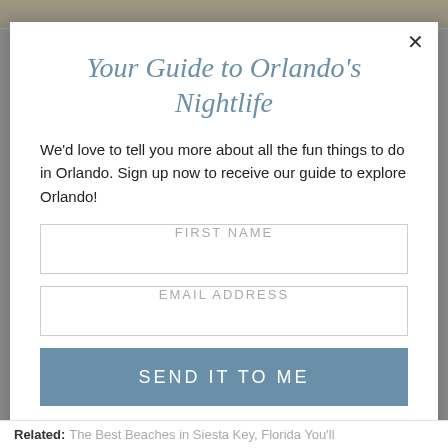[Figure (photo): Aerial or cityscape photo strip at top of page, partially visible]
Your Guide to Orlando's Nightlife
We'd love to tell you more about all the fun things to do in Orlando. Sign up now to receive our guide to explore Orlando!
FIRST NAME
EMAIL ADDRESS
SEND IT TO ME
Related: The Best Beaches in Siesta Key, Florida You'll